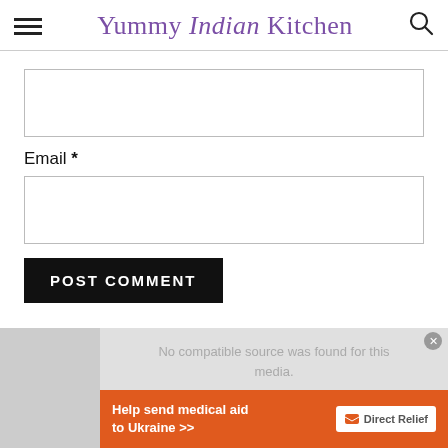Yummy Indian Kitchen
Email *
POST COMMENT
[Figure (screenshot): Media player error message: No compatible source was found for this media. With an orange Direct Relief advertisement banner at the bottom.]